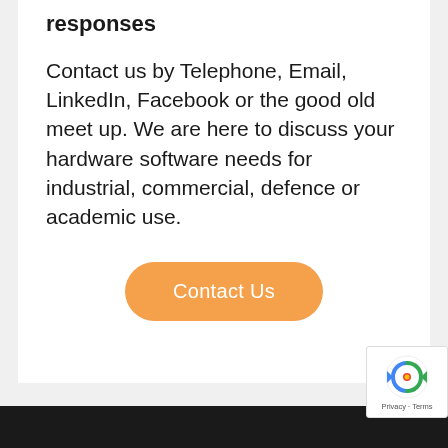responses
Contact us by Telephone, Email, LinkedIn, Facebook or the good old meet up. We are here to discuss your hardware software needs for industrial, commercial, defence or academic use.
[Figure (other): Orange rounded button labeled 'Contact Us']
[Figure (other): reCAPTCHA badge with Privacy - Terms text]